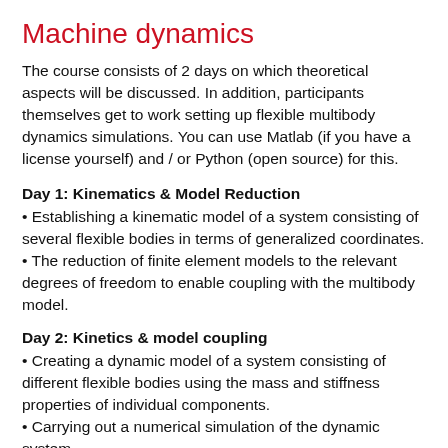Machine dynamics
The course consists of 2 days on which theoretical aspects will be discussed. In addition, participants themselves get to work setting up flexible multibody dynamics simulations. You can use Matlab (if you have a license yourself) and / or Python (open source) for this.
Day 1: Kinematics & Model Reduction
Establishing a kinematic model of a system consisting of several flexible bodies in terms of generalized coordinates.
The reduction of finite element models to the relevant degrees of freedom to enable coupling with the multibody model.
Day 2: Kinetics & model coupling
Creating a dynamic model of a system consisting of different flexible bodies using the mass and stiffness properties of individual components.
Carrying out a numerical simulation of the dynamic system